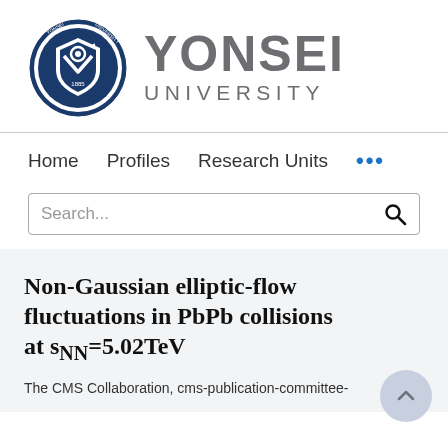[Figure (logo): Yonsei University logo with circular blue seal on the left and 'YONSEI UNIVERSITY' text in gray on the right]
Home   Profiles   Research Units   ...
Search...
Non-Gaussian elliptic-flow fluctuations in PbPb collisions at sNN=5.02TeV
The CMS Collaboration, cms-publication-committee-